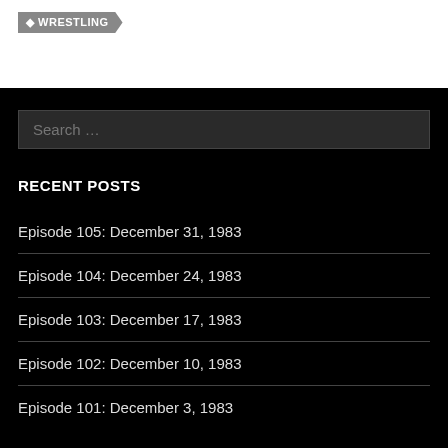WRESTLING
RECENT POSTS
Episode 105: December 31, 1983
Episode 104: December 24, 1983
Episode 103: December 17, 1983
Episode 102: December 10, 1983
Episode 101: December 3, 1983